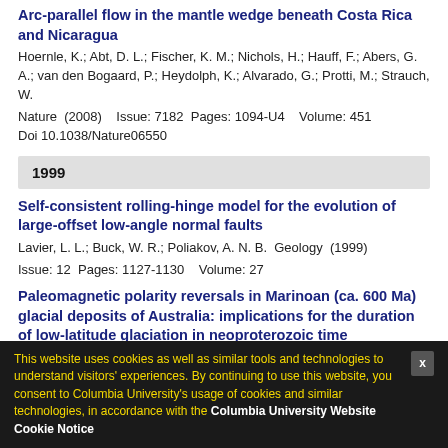Arc-parallel flow in the mantle wedge beneath Costa Rica and Nicaragua
Hoernle, K.; Abt, D. L.; Fischer, K. M.; Nichols, H.; Hauff, F.; Abers, G. A.; van den Bogaard, P.; Heydolph, K.; Alvarado, G.; Protti, M.; Strauch, W.
Nature  (2008)    Issue: 7182  Pages: 1094-U4    Volume: 451
Doi 10.1038/Nature06550
1999
Self-consistent rolling-hinge model for the evolution of large-offset low-angle normal faults
Lavier, L. L.; Buck, W. R.; Poliakov, A. N. B.  Geology  (1999)
Issue: 12  Pages: 1127-1130    Volume: 27
Paleomagnetic polarity reversals in Marinoan (ca. 600 Ma) glacial deposits of Australia: implications for the duration of low-latitude glaciation in neoproterozoic time
Sohl, L. E.; Christie-Blick, N.; Kent, D. V.
Geological Society of America Bulletin  (1999)    Issue: 8
Pages: 1120-1139    Volume: 111